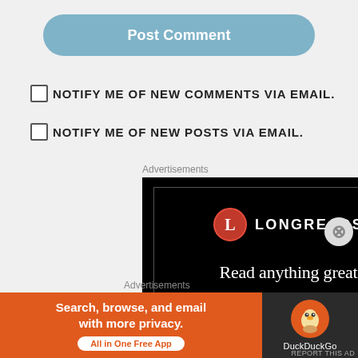Post Comment
NOTIFY ME OF NEW COMMENTS VIA EMAIL.
NOTIFY ME OF NEW POSTS VIA EMAIL.
Advertisements
[Figure (screenshot): Longreads advertisement with black background, red circle L logo, text 'Read anything great']
Advertisements
[Figure (screenshot): DuckDuckGo advertisement: 'Search, browse, and email with more privacy. All in One Free App' on orange background with duck logo on dark right panel]